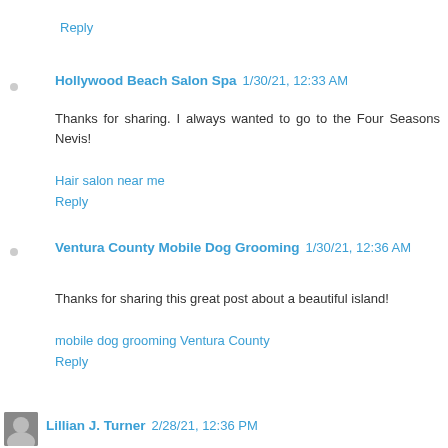Reply
Hollywood Beach Salon Spa  1/30/21, 12:33 AM
Thanks for sharing. I always wanted to go to the Four Seasons Nevis!
Hair salon near me
Reply
Ventura County Mobile Dog Grooming  1/30/21, 12:36 AM
Thanks for sharing this great post about a beautiful island!
mobile dog grooming Ventura County
Reply
Lillian J. Turner  2/28/21, 12:36 PM